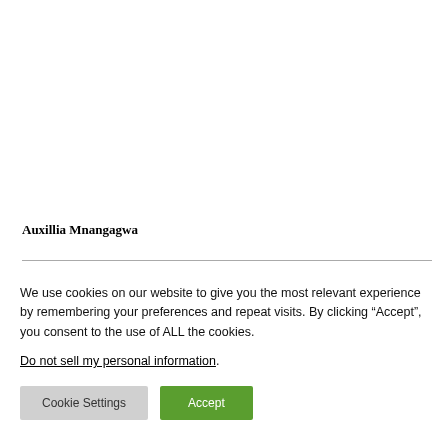Auxillia Mnangagwa
We use cookies on our website to give you the most relevant experience by remembering your preferences and repeat visits. By clicking “Accept”, you consent to the use of ALL the cookies. Do not sell my personal information.